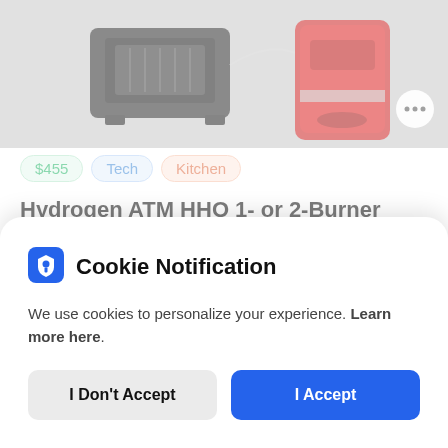[Figure (photo): Product listing image showing black tech device and red kitchen appliance on grey background]
$455
Tech
Kitchen
Hydrogen ATM HHO 1- or 2-Burner Cooking Appliance
1 day ago by Genevieve
[Figure (photo): Partial listing image showing outdoor scene with trees and person]
Cookie Notification
We use cookies to personalize your experience. Learn more here.
I Don't Accept
I Accept